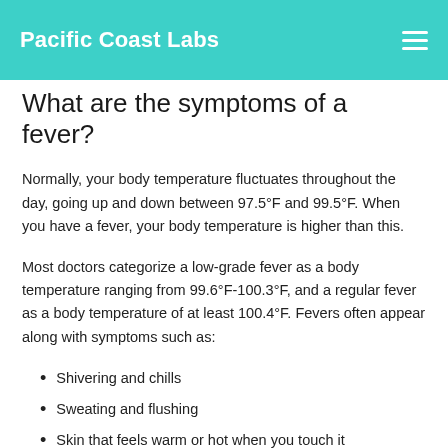Pacific Coast Labs
What are the symptoms of a fever?
Normally, your body temperature fluctuates throughout the day, going up and down between 97.5°F and 99.5°F. When you have a fever, your body temperature is higher than this.
Most doctors categorize a low-grade fever as a body temperature ranging from 99.6°F-100.3°F, and a regular fever as a body temperature of at least 100.4°F. Fevers often appear along with symptoms such as:
Shivering and chills
Sweating and flushing
Skin that feels warm or hot when you touch it